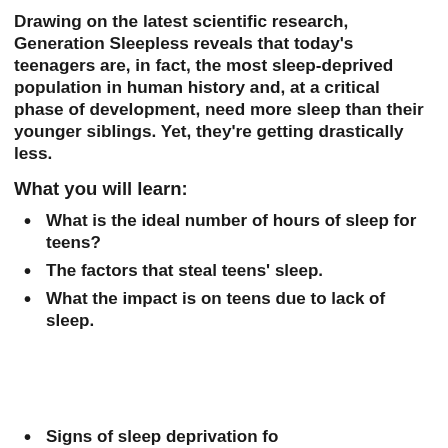Drawing on the latest scientific research, Generation Sleepless reveals that today's teenagers are, in fact, the most sleep-deprived population in human history and, at a critical phase of development, need more sleep than their younger siblings. Yet, they're getting drastically less.
What you will learn:
What is the ideal number of hours of sleep for teens?
The factors that steal teens' sleep.
What the impact is on teens due to lack of sleep.
Signs of sleep deprivation...